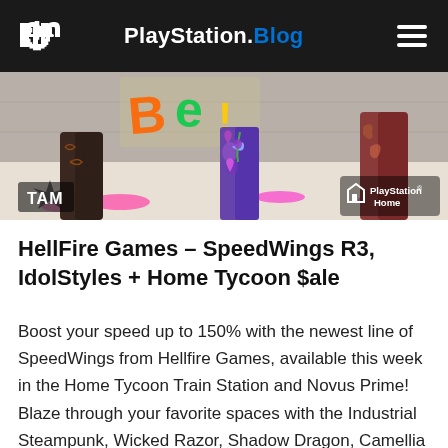PlayStation.Blog
[Figure (photo): PlayStation Home screenshot showing colorful characters/avatars in an indoor space, with 'TAM' logo in lower left and PlayStation Home logo in lower right.]
HellFire Games – SpeedWings R3, IdolStyles + Home Tycoon $ale
Boost your speed up to 150% with the newest line of SpeedWings from Hellfire Games, available this week in the Home Tycoon Train Station and Novus Prime! Blaze through your favorite spaces with the Industrial Steampunk, Wicked Razor, Shadow Dragon, Camellia Fairy, and Golden Archangel SpeedWings, plus the first-